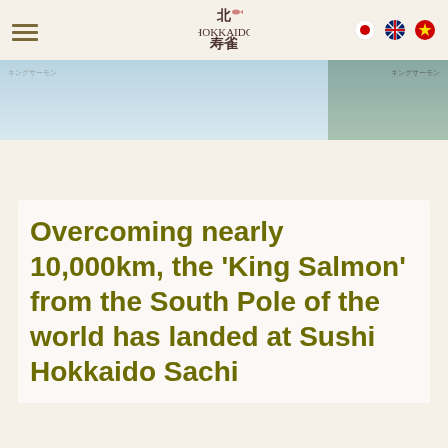Sushi Hokkaido Sachi — Navigation header with logo and language icons
[Figure (screenshot): Website banner with ocean/seafood imagery, light blue gradient background on left and dark green on right]
Overcoming nearly 10,000km, the 'King Salmon' from the South Pole of the world has landed at Sushi Hokkaido Sachi